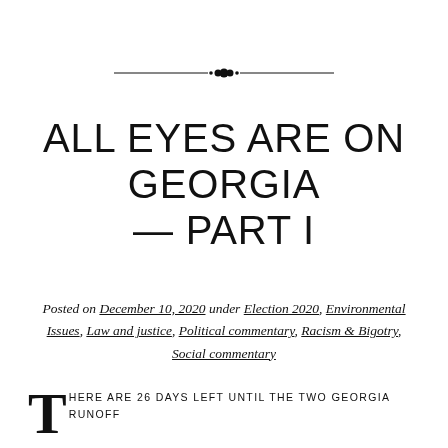[Figure (illustration): Decorative horizontal ornament divider with two horizontal lines flanking a small cluster of diamond/dot shapes in the center]
ALL EYES ARE ON GEORGIA — PART I
Posted on December 10, 2020 under Election 2020, Environmental Issues, Law and justice, Political commentary, Racism & Bigotry, Social commentary
THERE ARE 26 DAYS LEFT UNTIL THE TWO GEORGIA RUNOFF